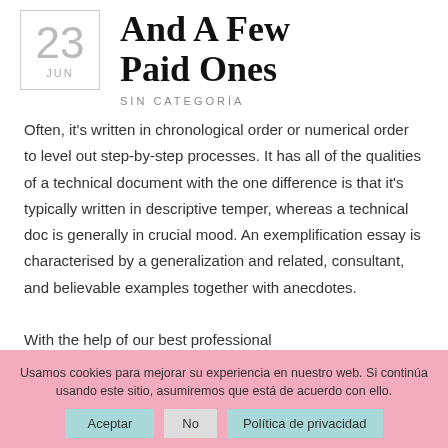And A Few Paid Ones
SIN CATEGORÍA
Often, it's written in chronological order or numerical order to level out step-by-step processes. It has all of the qualities of a technical document with the one difference is that it's typically written in descriptive temper, whereas a technical doc is generally in crucial mood. An exemplification essay is characterised by a generalization and related, consultant, and believable examples together with anecdotes.
With the help of our best professional
Usamos cookies para mejorar su experiencia en nuestro web. Si continúa usando este sitio, asumiremos que está de acuerdo con ello.